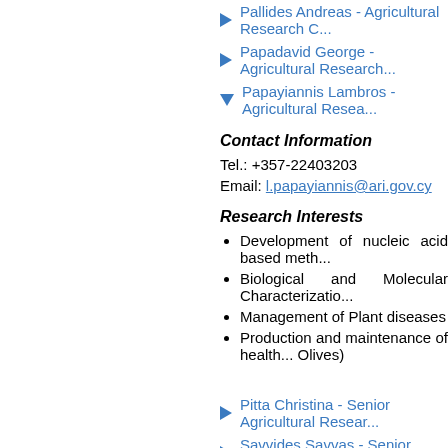Pallides Andreas - Agricultural Research C...
Papadavid George - Agricultural Research...
Papayiannis Lambros - Agricultural Resea...
Contact Information
Tel.: +357-22403203
Email: l.papayiannis@ari.gov.cy
Research Interests
Development of nucleic acid based meth...
Biological and Molecular Characterizatio...
Management of Plant diseases
Production and maintenance of health... Olives)
Pitta Christina - Senior Agricultural Resear...
Savvides Savvas - Senior Agricultural Res...
Seraphides Nicos - Agricultural Research C...
Soteriou Georgios - Agricultural Research...
Sparaggis Dionysis - Agricultural Research...
Stavridou Constantina - Agricultural Resea...
Stylianou Andreas - Agricultural Research...